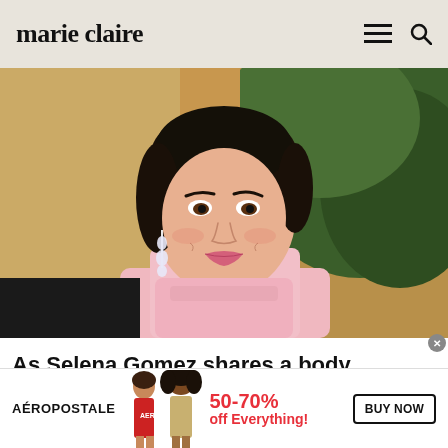marie claire
[Figure (photo): Headshot of Selena Gomez wearing a pink turtleneck top and diamond drop earrings, smiling, with dark hair pulled back, against a blurred green foliage background]
As Selena Gomez shares a body positive bikini post - why fans are divided
She explains why Selena Gomez has repeatedly spoken out about...
[Figure (infographic): Aéropostale advertisement banner showing two models, 50-70% off Everything! text in red, and a BUY NOW button]